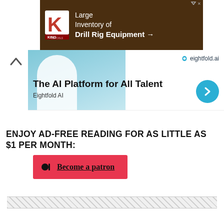[Figure (screenshot): King Oil Tools advertisement banner showing logo and text 'Large Inventory of Drill Rig Equipment →' on a dark brown background]
[Figure (screenshot): Eightfold AI advertisement banner with person in white shirt, teal background, eightfold.ai logo, text 'The AI Platform for All Talent', 'Eightfold AI', and a teal circular arrow button]
ENJOY AD-FREE READING FOR AS LITTLE AS $1 PER MONTH:
Become a patron